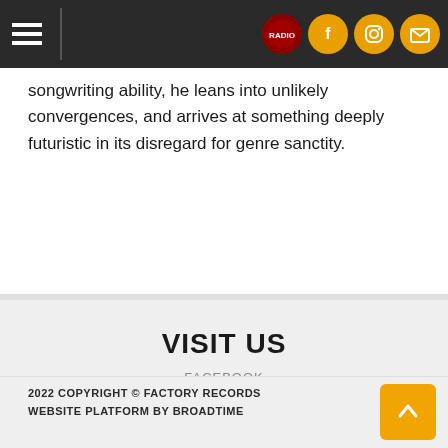Navigation header with hamburger menu and social icons (logo, Facebook, Instagram, Email)
songwriting ability, he leans into unlikely convergences, and arrives at something deeply futuristic in its disregard for genre sanctity.
VISIT US
FACEBOOK
INSTAGRAM
EMAIL
2022 COPYRIGHT © FACTORY RECORDS
WEBSITE PLATFORM BY BROADTIME